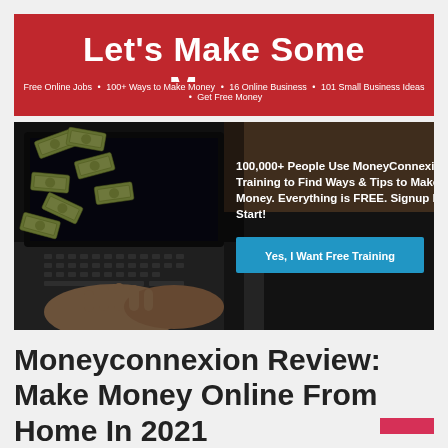Let's Make Some Money
Free Online Jobs • 100+ Ways to Make Money • 16 Online Business • 101 Small Business Ideas • Get Free Money
[Figure (screenshot): Hero banner showing a person typing on a laptop with money bills flying, dark overlay. Text overlay: '100,000+ People Use MoneyConnexion Training to Find Ways & Tips to Make Money. Everything is FREE. Signup Now to Start!' with a blue CTA button 'Yes, I Want Free Training']
Moneyconnexion Review: Make Money Online From Home In 2021